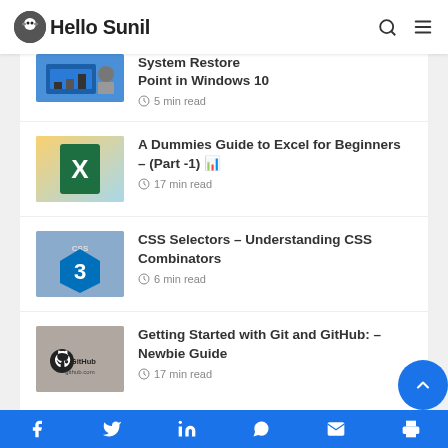Hello Sunil
System Restore Point in Windows 10 — 5 min read
A Dummies Guide to Excel for Beginners – (Part -1) 📊 — 17 min read
CSS Selectors – Understanding CSS Combinators — 6 min read
Getting Started with Git and GitHub: – Newbie Guide — 17 min read